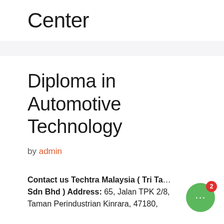Center
Diploma in Automotive Technology
by admin
Contact us Techtra Malaysia ( Tri Ta... Sdn Bhd ) Address: 65, Jalan TPK 2/8, Taman Perindustrian Kinrara, 47180,